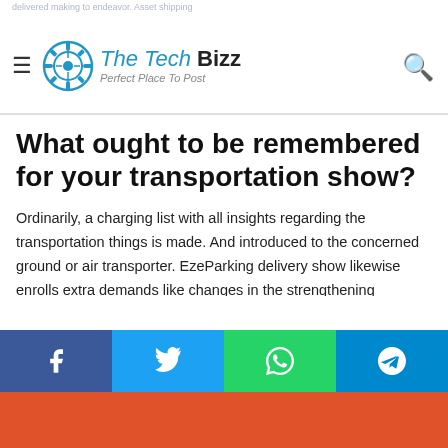The Tech Bizz — Perfect Place To Post
What ought to be remembered for your transportation show?
Ordinarily, a charging list with all insights regarding the transportation things is made. And introduced to the concerned ground or air transporter. EzeParking delivery show likewise enrolls extra demands like changes in the strengthening administrations; protection, weight, zones, distance, COD sum, measurement, number of boxes. Proclaimed worth. Besides, it contains terrifically significant data to help you document a delivery guarantee for lost. Harmed or taken things if essential.